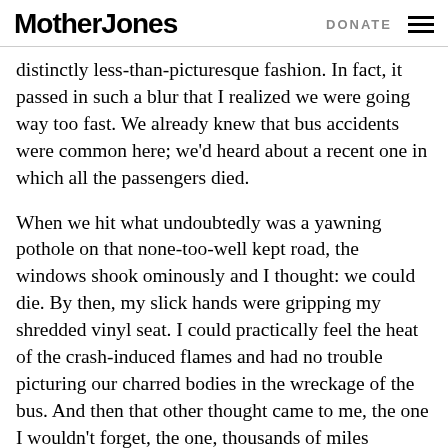Mother Jones | DONATE
distinctly less-than-picturesque fashion. In fact, it passed in such a blur that I realized we were going way too fast. We already knew that bus accidents were common here; we'd heard about a recent one in which all the passengers died.
When we hit what undoubtedly was a yawning pothole on that none-too-well kept road, the windows shook ominously and I thought: we could die. By then, my slick hands were gripping my shredded vinyl seat. I could practically feel the heat of the crash-induced flames and had no trouble picturing our charred bodies in the wreckage of the bus. And then that other thought came to me, the one I wouldn't forget, the one, thousands of miles